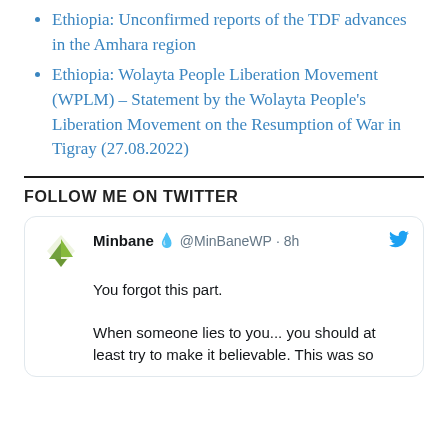Ethiopia: Unconfirmed reports of the TDF advances in the Amhara region
Ethiopia: Wolayta People Liberation Movement (WPLM) – Statement by the Wolayta People's Liberation Movement on the Resumption of War in Tigray (27.08.2022)
FOLLOW ME ON TWITTER
[Figure (screenshot): Twitter/social media card showing a tweet by Minbane (@MinBaneWP) posted 8h ago with avatar logo (green sailboat/diamond shape). Tweet text: 'You forgot this part. When someone lies to you... you should at least try to make it believable. This was so...' (truncated). Twitter bird icon shown top right.]